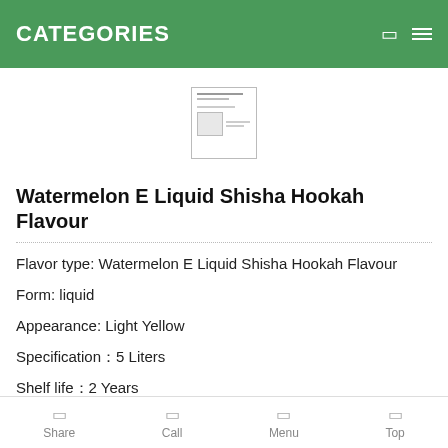CATEGORIES
[Figure (photo): Small product label/document image thumbnail centered on the page]
Watermelon E Liquid Shisha Hookah Flavour
Flavor type: Watermelon E Liquid Shisha Hookah Flavour
Form: liquid
Appearance: Light Yellow
Specification：5 Liters
Shelf life：2 Years
Share  Call  Menu  Top